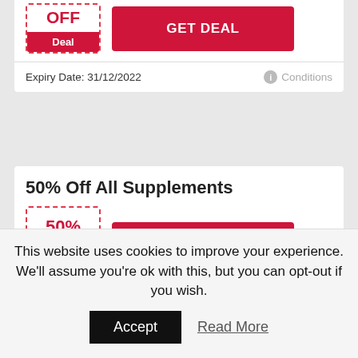[Figure (other): Partial coupon card at top showing OFF label, Deal button tab, and GET DEAL red button with expiry date 31/12/2022 and Conditions link]
50% Off All Supplements
[Figure (other): Coupon box showing 50% OFF with red Deal footer tab, and GET DEAL red button]
This website uses cookies to improve your experience. We'll assume you're ok with this, but you can opt-out if you wish.
Accept
Read More